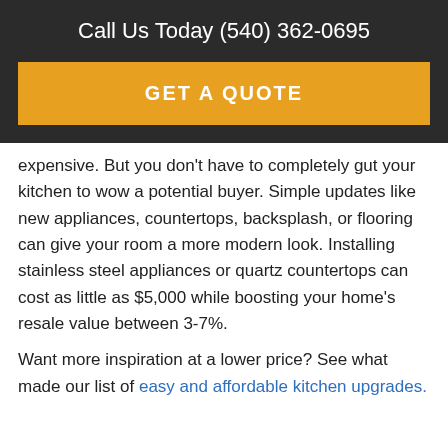Call Us Today (540) 362-0695
GET A QUOTE
expensive. But you don't have to completely gut your kitchen to wow a potential buyer. Simple updates like new appliances, countertops, backsplash, or flooring can give your room a more modern look. Installing stainless steel appliances or quartz countertops can cost as little as $5,000 while boosting your home's resale value between 3-7%.
Want more inspiration at a lower price? See what made our list of easy and affordable kitchen upgrades.